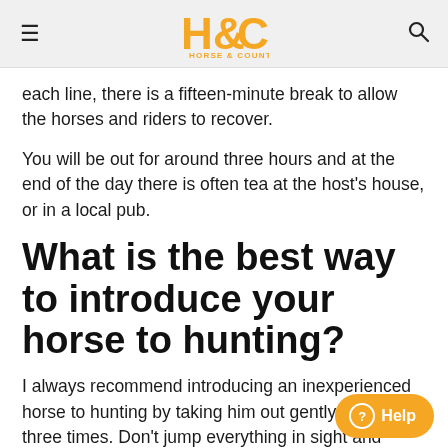Horse & Country
each line, there is a fifteen-minute break to allow the horses and riders to recover.
You will be out for around three hours and at the end of the day there is often tea at the host's house, or in a local pub.
What is the best way to introduce your horse to hunting?
I always recommend introducing an inexperienced horse to hunting by taking him out gently for two or three times. Don't jump everything in sight and make sure you do a certain amount of standing still so you can watch what is going on. Then, when you have a nice